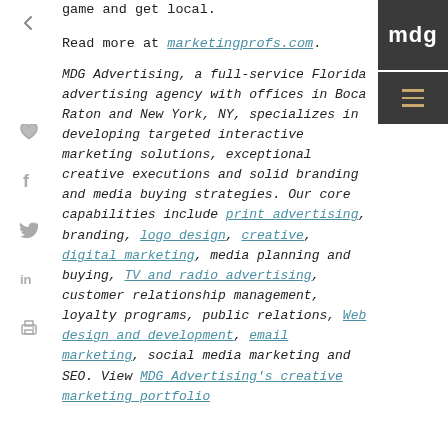game and get local.
Read more at marketingprofs.com.
MDG Advertising, a full-service Florida advertising agency with offices in Boca Raton and New York, NY, specializes in developing targeted interactive marketing solutions, exceptional creative executions and solid branding and media buying strategies. Our core capabilities include print advertising, branding, logo design, creative, digital marketing, media planning and buying, TV and radio advertising, customer relationship management, loyalty programs, public relations, Web design and development, email marketing, social media marketing and SEO. View MDG Advertising's creative marketing portfolio
[Figure (logo): MDG Advertising logo - dark grey box with white MDG text, and a hamburger menu icon below in tan/gold color]